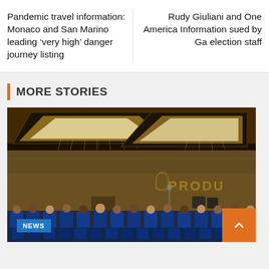Pandemic travel information: Monaco and San Marino leading ‘very high’ danger journey listing
Rudy Giuliani and One America Information sued by Ga election staff
MORE STORIES
[Figure (photo): Conference room with audience seated in blue chairs, ornate ceiling with warm lighting, PRODU branding on wall in background. NEWS badge in lower left corner.]